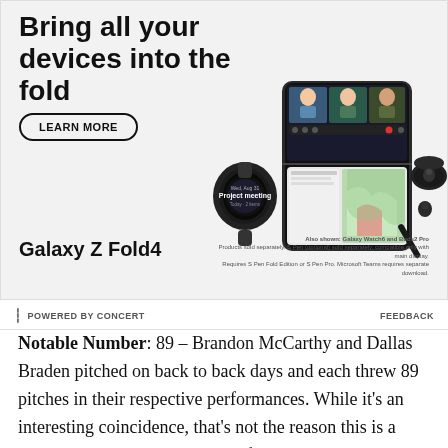[Figure (illustration): Samsung Galaxy Z Fold4 advertisement showing a smartwatch, a foldable phone with a video call open, wireless earbuds, and an S Pen stylus. Text reads 'Bring all your devices into the fold' with a 'LEARN MORE' button. Product name 'Galaxy Z Fold4' appears at bottom left. Fine print: 'Also shown: Galaxy Watch6 and Buds2 Pro. Products sold separately. S Pen (optional) sold separately, compatible only with main display. Requires S Pen Fold Edition or S Pen Pro. Microsoft Teams requires separate download.']
POWERED BY CONCERT   FEEDBACK
Notable Number: 89 – Brandon McCarthy and Dallas Braden pitched on back to back days and each threw 89 pitches in their respective performances. While it's an interesting coincidence, that's not the reason this is a notable number. Rather, it's the fact that both pitchers gave up five runs but somehow managed to